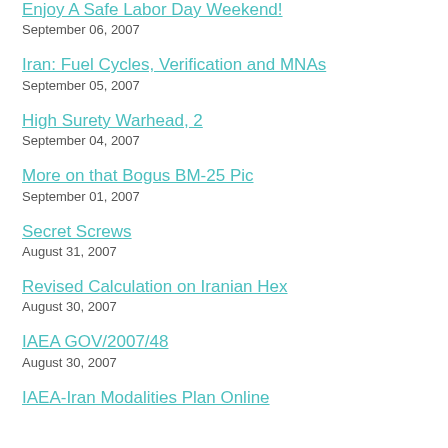Enjoy A Safe Labor Day Weekend!
September 06, 2007
Iran: Fuel Cycles, Verification and MNAs
September 05, 2007
High Surety Warhead, 2
September 04, 2007
More on that Bogus BM-25 Pic
September 01, 2007
Secret Screws
August 31, 2007
Revised Calculation on Iranian Hex
August 30, 2007
IAEA GOV/2007/48
August 30, 2007
IAEA-Iran Modalities Plan Online